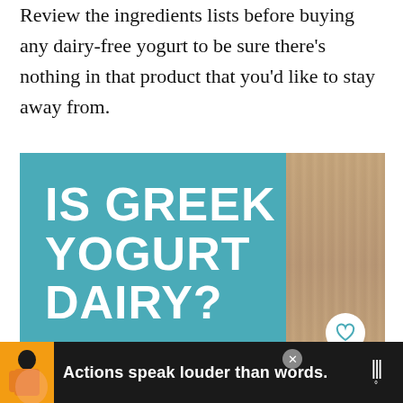Review the ingredients lists before buying any dairy-free yogurt to be sure there's nothing in that product that you'd like to stay away from.
[Figure (other): Promotional image card with teal background showing text 'IS GREEK YOGURT DAIRY?' with subtitle 'find out if this style of yogurt is a good choice for a dairy-free diet' and url www.rachaelroehmholdt.com, with photo of red textile on right side, social share buttons, and a 'WHAT'S NEXT' panel showing 'Is Frozen Yogurt Dairy...']
[Figure (infographic): Advertisement banner at bottom: dark background with figure of person in yellow jacket, bold text 'Actions speak louder than words.' and a logo on the right]